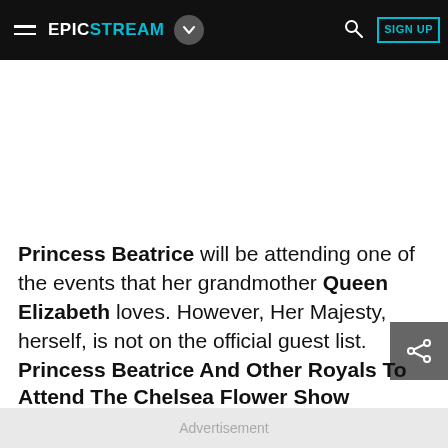EPICSTREAM
Princess Beatrice will be attending one of the events that her grandmother Queen Elizabeth loves. However, Her Majesty, herself, is not on the official guest list.
Princess Beatrice And Other Royals To Attend The Chelsea Flower Show
Advertisement